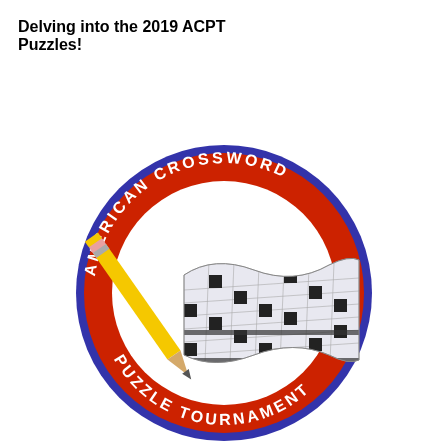Delving into the 2019 ACPT Puzzles!
[Figure (logo): American Crossword Puzzle Tournament circular logo featuring a yellow pencil holding a waving crossword-grid flag (black and white squares), surrounded by a red ring bearing the text 'AMERICAN CROSSWORD PUZZLE TOURNAMENT' in white letters, and a blue outer circle border.]